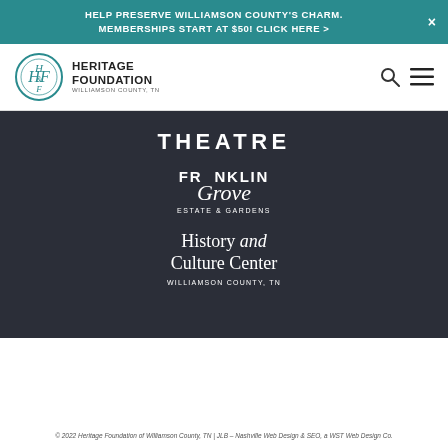HELP PRESERVE WILLIAMSON COUNTY'S CHARM. MEMBERSHIPS START AT $50! CLICK HERE >
[Figure (logo): Heritage Foundation of Williamson County TN circular logo with HF monogram and text]
THEATRE
[Figure (logo): Franklin Grove Estate & Gardens logo with serif uppercase FRANKLIN and script Grove text]
[Figure (logo): History and Culture Center Williamson County TN logo]
© 2022 Heritage Foundation of Williamson County, TN | JLB - Nashville Web Design & SEO, a WST Web Design Co.